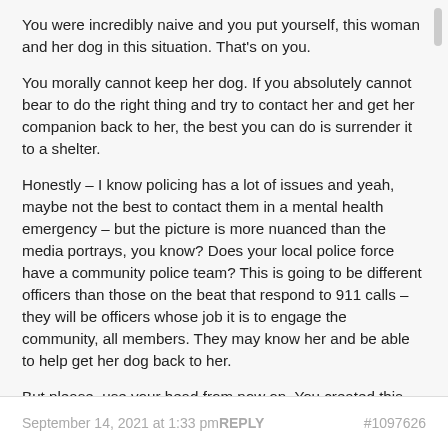You were incredibly naive and you put yourself, this woman and her dog in this situation. That's on you.
You morally cannot keep her dog. If you absolutely cannot bear to do the right thing and try to contact her and get her companion back to her, the best you can do is surrender it to a shelter.
Honestly – I know policing has a lot of issues and yeah, maybe not the best to contact them in a mental health emergency – but the picture is more nuanced than the media portrays, you know? Does your local police force have a community police team? This is going to be different officers than those on the beat that respond to 911 calls – they will be officers whose job it is to engage the community, all members. They may know her and be able to help get her dog back to her.
But please, use your head from now on. You created this mess. You need to figure out how to clean it up.
September 14, 2021 at 1:33 pm REPLY   #1097626